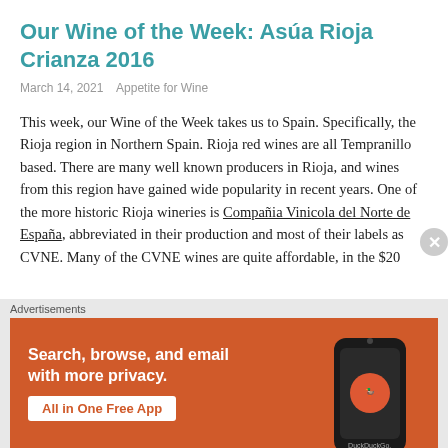Our Wine of the Week: Asúa Rioja Crianza 2016
March 14, 2021    Appetite for Wine
This week, our Wine of the Week takes us to Spain. Specifically, the Rioja region in Northern Spain. Rioja red wines are all Tempranillo based. There are many well known producers in Rioja, and wines from this region have gained wide popularity in recent years. One of the more historic Rioja wineries is Compañia Vinicola del Norte de España, abbreviated in their production and most of their labels as CVNE. Many of the CVNE wines are quite affordable, in the $20
[Figure (other): DuckDuckGo advertisement banner: orange background with text 'Search, browse, and email with more privacy. All in One Free App' and a phone graphic showing DuckDuckGo logo]